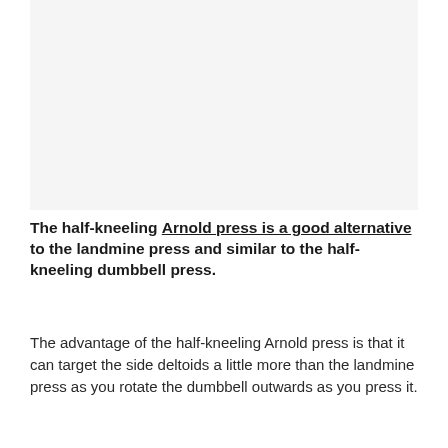[Figure (photo): Image placeholder showing a half-kneeling Arnold press exercise demonstration]
The half-kneeling Arnold press is a good alternative to the landmine press and similar to the half-kneeling dumbbell press.
The advantage of the half-kneeling Arnold press is that it can target the side deltoids a little more than the landmine press as you rotate the dumbbell outwards as you press it.